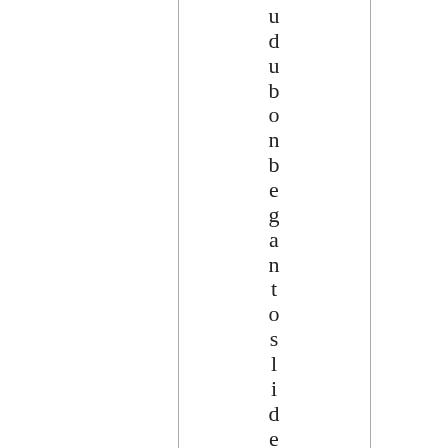u d u b o n b e g a n t o s l i d e i n t o s e n